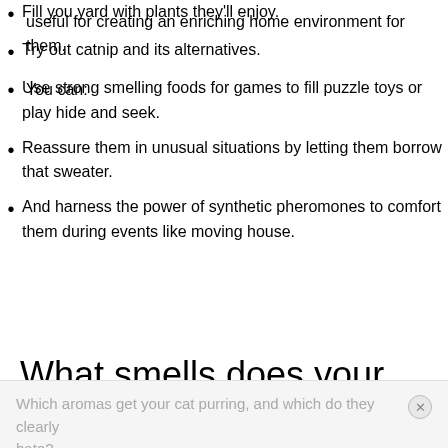useful for creating an enriching home environment for them.
You can:
Fill you yard with plants they'll enjoy.
Try out catnip and its alternatives.
Use strong smelling foods for games to fill puzzle toys or play hide and seek.
Reassure them in unusual situations by letting them borrow that sweater.
And harness the power of synthetic pheromones to comfort them during events like moving house.
What smells does your cat like?
Which aromas get your cat purring, and which do they clearly hate?